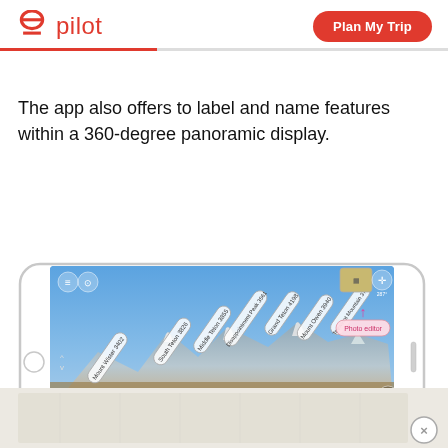pilot | Plan My Trip
The app also offers to label and name features within a 360-degree panoramic display.
[Figure (screenshot): Phone mockup showing the Pilot app with a 360-degree panoramic mountain view of the Tetons, with labeled mountain peaks including Mount Wister, South Teton, Middle Teton, Disappointment Peak, Grand Teton, Mount Owen, Teewinot Mountain, and The Jaw. UI controls visible including menu, camera, compass, and photo editor button.]
[Figure (screenshot): Bottom advertisement banner with map imagery and a close (X) button.]